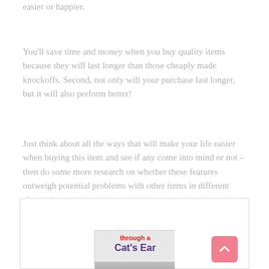easier or happier.
You'll save time and money when you buy quality items because they will last longer than those cheaply made knockoffs. Second, not only will your purchase last longer, but it will also perform better!
Just think about all the ways that will make your life easier when buying this item and see if any come into mind or not – then do some more research on whether these features outweigh potential problems with other items in different circumstances.
[Figure (illustration): Advertisement box with book cover showing 'through a Cat's Ear' with a cat image, and a pink scroll-to-top button in the bottom right corner.]